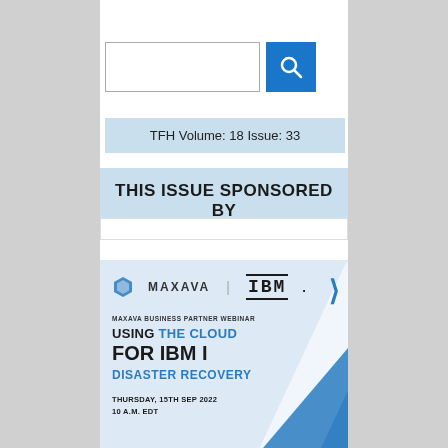[Figure (other): Search input box with blue search button icon]
TFH Volume: 18 Issue: 33
THIS ISSUE SPONSORED BY
[Figure (infographic): Advertisement banner for Maxava Business Partner Webinar with IBM: USING THE CLOUD FOR IBM i DISASTER RECOVERY. Thursday, 15th Sep 2022, 10 A.M. EDT. Features Maxava and IBM logos on a light blue background with blue diagonal stripes.]